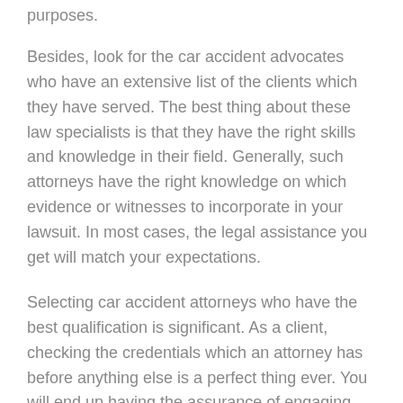purposes.
Besides, look for the car accident advocates who have an extensive list of the clients which they have served. The best thing about these law specialists is that they have the right skills and knowledge in their field. Generally, such attorneys have the right knowledge on which evidence or witnesses to incorporate in your lawsuit. In most cases, the legal assistance you get will match your expectations.
Selecting car accident attorneys who have the best qualification is significant. As a client, checking the credentials which an attorney has before anything else is a perfect thing ever. You will end up having the assurance of engaging the right legal minds in your case. With such professionals, be sure of getting the best representation as they tend to make logical statements in court. You will see this maximizing the possibilities of the final verdict favoring your side. Your